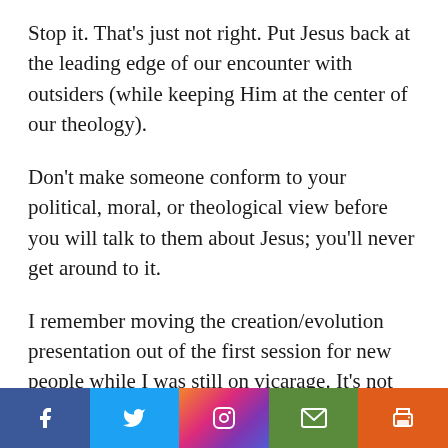Stop it. That's just not right. Put Jesus back at the leading edge of our encounter with outsiders (while keeping Him at the center of our theology).
Don't make someone conform to your political, moral, or theological view before you will talk to them about Jesus; you'll never get around to it.
I remember moving the creation/evolution presentation out of the first session for new people while I was still on vicarage. It's not that I don't think creation is a vital part of our faith; it's just that if someone leaves that first new